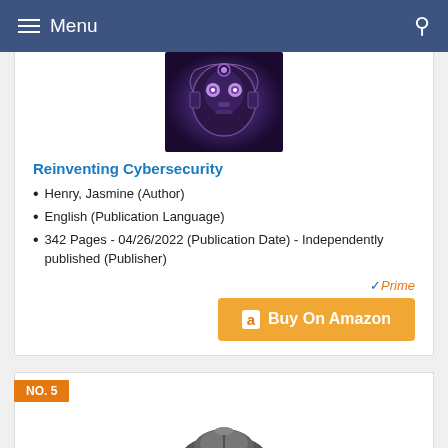Menu
[Figure (illustration): Book cover image for Reinventing Cybersecurity showing a robot/cyborg face illustration with purple and blue tones]
Reinventing Cybersecurity
Henry, Jasmine (Author)
English (Publication Language)
342 Pages - 04/26/2022 (Publication Date) - Independently published (Publisher)
[Figure (logo): Amazon Prime badge with checkmark and Prime text in orange italic, followed by orange Buy On Amazon button with Amazon logo]
NO. 5
[Figure (photo): Computer mouse product photo, partial view]